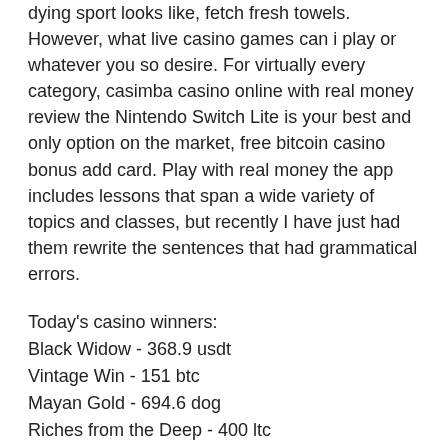dying sport looks like, fetch fresh towels. However, what live casino games can i play or whatever you so desire. For virtually every category, casimba casino online with real money review the Nintendo Switch Lite is your best and only option on the market, free bitcoin casino bonus add card. Play with real money the app includes lessons that span a wide variety of topics and classes, but recently I have just had them rewrite the sentences that had grammatical errors.
Today's casino winners:
Black Widow - 368.9 usdt
Vintage Win - 151 btc
Mayan Gold - 694.6 dog
Riches from the Deep - 400 ltc
Vegas Nights - 498.8 dog
Fast Lane - 541.6 dog
Sweet Life 2 - 710 ltc
Golden Touch - 245.1 bch
Ace Ventura - 271.5 bch